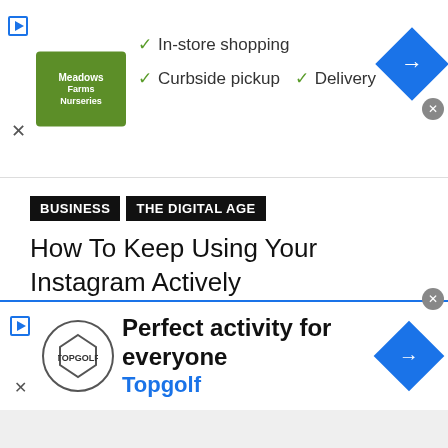[Figure (screenshot): Advertisement banner for Meadows Farms Nurseries showing checkmarks for In-store shopping, Curbside pickup, and Delivery services with a blue navigation arrow icon and close button]
BUSINESS  THE DIGITAL AGE
How To Keep Using Your Instagram Actively
When it comes to using Instagram for marketing purposes, you need to know what ...
TOM LA VECCHIA – AUGUST 7, 2018
[Figure (screenshot): Advertisement banner for Topgolf showing logo and text 'Perfect activity for everyone' with blue navigation arrow icon and close button]